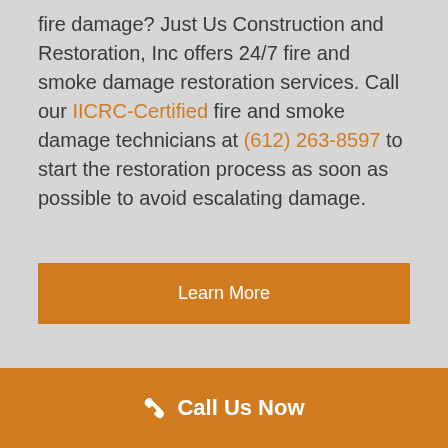fire damage? Just Us Construction and Restoration, Inc offers 24/7 fire and smoke damage restoration services. Call our IICRC-Certified fire and smoke damage technicians at (612) 263-8597 to start the restoration process as soon as possible to avoid escalating damage.
Learn More
Request a Quote
Call Us Now